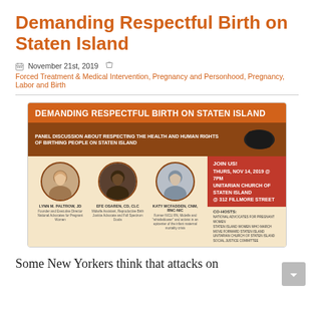Demanding Respectful Birth on Staten Island
November 21st, 2019  Forced Treatment & Medical Intervention, Pregnancy and Personhood, Pregnancy, Labor and Birth
[Figure (infographic): Event flyer for 'Demanding Respectful Birth on Staten Island' panel discussion. Shows three speakers (Lynn M. Paltrow JD, Efe Osaren CD CLC, Katy McFadden CNM RNC-NIC), event details (Thurs, Nov 14, 2019 @ 7PM, Unitarian Church of Staten Island @ 312 Fillmore Street), and co-hosts (National Advocates for Pregnant Women, Staten Island Women Who March, Move Forward Staten Island, Unitarian Church of Staten Island Social Justice Committee).]
Some New Yorkers think that attacks on